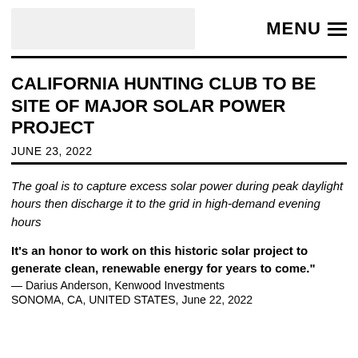MENU
CALIFORNIA HUNTING CLUB TO BE SITE OF MAJOR SOLAR POWER PROJECT
JUNE 23, 2022
The goal is to capture excess solar power during peak daylight hours then discharge it to the grid in high-demand evening hours
It's an honor to work on this historic solar project to generate clean, renewable energy for years to come." — Darius Anderson, Kenwood Investments
SONOMA, CA, UNITED STATES, June 22, 2022